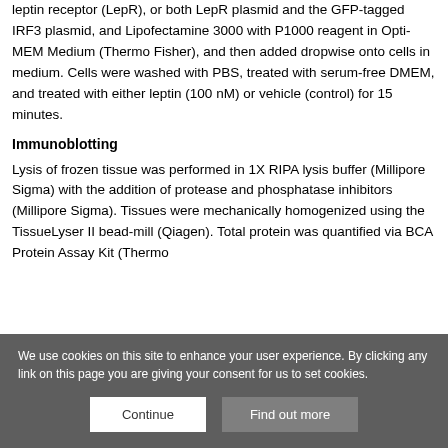leptin receptor (LepR), or both LepR plasmid and the GFP-tagged IRF3 plasmid, and Lipofectamine 3000 with P1000 reagent in Opti-MEM Medium (Thermo Fisher), and then added dropwise onto cells in medium. Cells were washed with PBS, treated with serum-free DMEM, and treated with either leptin (100 nM) or vehicle (control) for 15 minutes.
Immunoblotting
Lysis of frozen tissue was performed in 1X RIPA lysis buffer (Millipore Sigma) with the addition of protease and phosphatase inhibitors (Millipore Sigma). Tissues were mechanically homogenized using the TissueLyser II bead-mill (Qiagen). Total protein was quantified via BCA Protein Assay Kit (Thermo
We use cookies on this site to enhance your user experience. By clicking any link on this page you are giving your consent for us to set cookies.